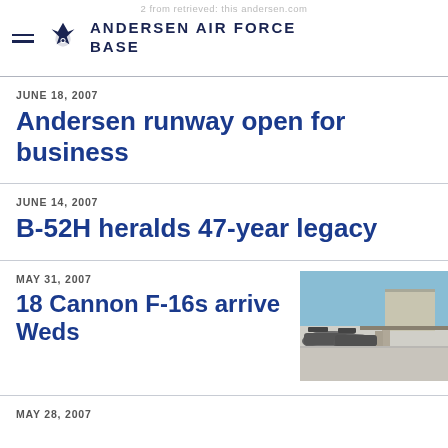ANDERSEN AIR FORCE BASE
JUNE 18, 2007
Andersen runway open for business
JUNE 14, 2007
B-52H heralds 47-year legacy
MAY 31, 2007
18 Cannon F-16s arrive Weds
[Figure (photo): F-16 fighter jets lined up on a runway at Andersen Air Force Base with a hangar in the background]
MAY 28, 2007